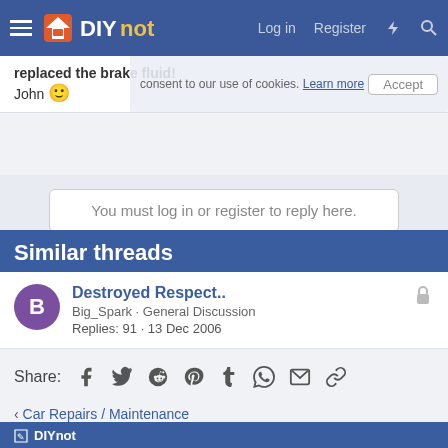DIYnot — Log in | Register
replaced the brake fluid!
John 🙂
You must log in or register to reply here.
Similar threads
Destroyed Respect.. — Big_Spark · General Discussion — Replies: 91 · 13 Dec 2006
Share: (Facebook, Twitter, Reddit, Pinterest, Tumblr, WhatsApp, Email, Link)
< Car Repairs / Maintenance
DIYnot — Contact us | Terms and rules | Privacy policy | Help | Home